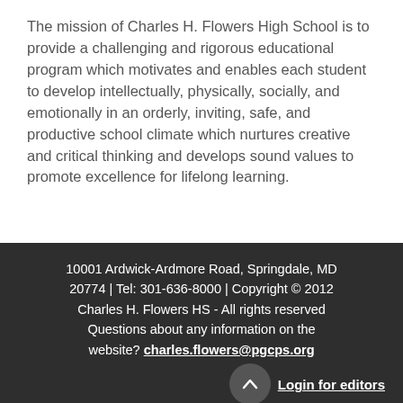The mission of Charles H. Flowers High School is to provide a challenging and rigorous educational program which motivates and enables each student to develop intellectually, physically, socially, and emotionally in an orderly, inviting, safe, and productive school climate which nurtures creative and critical thinking and develops sound values to promote excellence for lifelong learning.
10001 Ardwick-Ardmore Road, Springdale, MD 20774 | Tel: 301-636-8000 | Copyright © 2012 Charles H. Flowers HS - All rights reserved Questions about any information on the website? charles.flowers@pgcps.org Login for editors